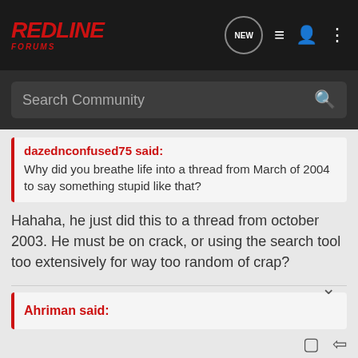[Figure (logo): RedLine Forums logo in red italic bold text on dark background with navigation icons]
Search Community
dazednconfused75 said:
Why did you breathe life into a thread from March of 2004 to say something stupid like that?
Hahaha, he just did this to a thread from october 2003. He must be on crack, or using the search tool too extensively for way too random of crap?
Ahriman said:
redline14  Registered